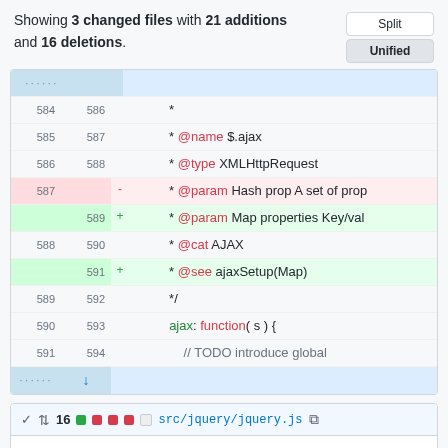Showing 3 changed files with 21 additions and 16 deletions.
[Figure (screenshot): GitHub diff view showing code changes in a unified diff format. Lines 584-594 of a JavaScript file showing @param change from Hash to Map, addition of @see ajaxSetup(Map), and ajax function definition.]
[Figure (screenshot): GitHub file header for src/jquery/jquery.js showing 16 changes with colored squares indicating additions and deletions, with expand/collapse controls.]
[Figure (screenshot): GitHub diff hunk header showing @@ -312,8 +312,8 @@ jQuery.fn = jQuery.pr and partial line 312 showing @example $('img').each(funct]